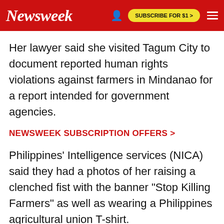Newsweek | SUBSCRIBE FOR $1 >
Her lawyer said she visited Tagum City to document reported human rights violations against farmers in Mindanao for a report intended for government agencies.
NEWSWEEK SUBSCRIPTION OFFERS >
Philippines' Intelligence services (NICA) said they had a photos of her raising a clenched fist with the banner "Stop Killing Farmers" as well as wearing a Philippines agricultural union T-shirt.